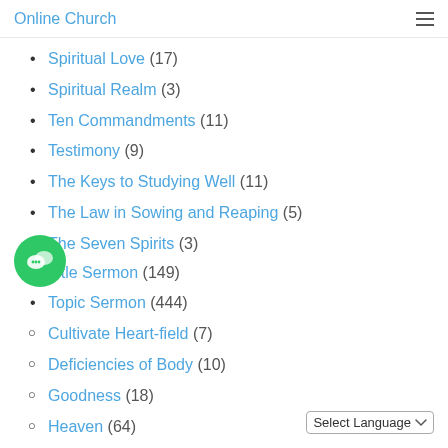Online Church
Spiritual Love (17)
Spiritual Realm (3)
Ten Commandments (11)
Testimony (9)
The Keys to Studying Well (11)
The Law in Sowing and Reaping (5)
The Seven Spirits (3)
Title Sermon (149)
Topic Sermon (444)
Cultivate Heart-field (7)
Deficiencies of Body (10)
Goodness (18)
Heaven (64)
Hell (20)